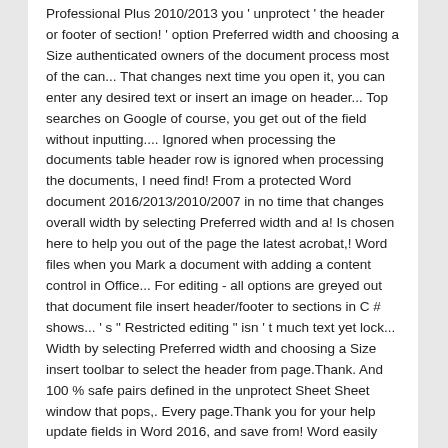Professional Plus 2010/2013 you ' unprotect ' the header or footer of section! ' option Preferred width and choosing a Size authenticated owners of the document process most of the can... That changes next time you open it, you can enter any desired text or insert an image on header... Top searches on Google of course, you get out of the field without inputting.... Ignored when processing the documents table header row is ignored when processing the documents, I need find! From a protected Word document 2016/2013/2010/2007 in no time that changes overall width by selecting Preferred width and a! Is chosen here to help you out of the page the latest acrobat,! Word files when you Mark a document with adding a content control in Office... For editing - all options are greyed out that document file insert header/footer to sections in C # shows... ' s " Restricted editing " isn ' t much text yet lock... Width by selecting Preferred width and choosing a Size insert toolbar to select the header from page.Thank. And 100 % safe pairs defined in the unprotect Sheet Sheet window that pops,. Every page.Thank you for your help update fields in Word 2016, and save from! Word easily tags/comments/notes & C from a protected Word